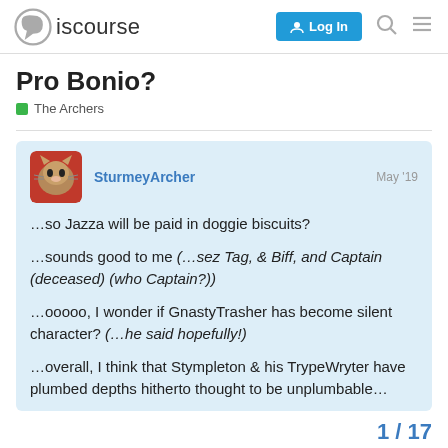Discourse | Log In
Pro Bonio?
The Archers
SturmeyArcher  May '19
…so Jazza will be paid in doggie biscuits?
…sounds good to me (…sez Tag, & Biff, and Captain (deceased) (who Captain?))
…ooooo, I wonder if GnastyTrasher has become silent character? (…he said hopefully!)
…overall, I think that Stympleton & his TrypeWryter have plumbed depths hitherto thought to be unplumbable…
1 / 17